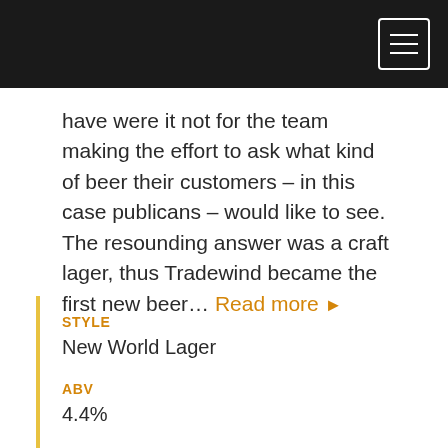have were it not for the team making the effort to ask what kind of beer their customers – in this case publicans – would like to see. The resounding answer was a craft lager, thus Tradewind became the first new beer... Read more ▶
STYLE
New World Lager
ABV
4.4%
BITTERNESS
25 IBU